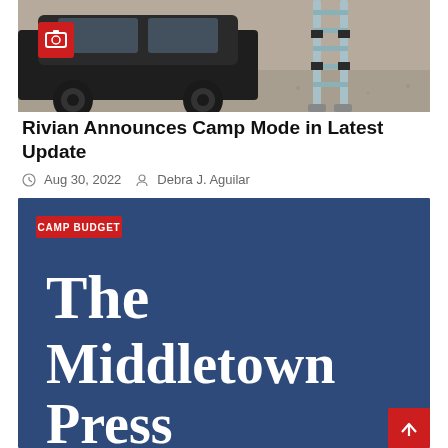[Figure (photo): Photo of a vehicle (SUV/truck) with a telescoping ladder leaning against it, parked on gravel. A red camera icon overlay appears in the top-left corner of the photo.]
Rivian Announces Camp Mode in Latest Update
Aug 30, 2022   Debra J. Aguilar
[Figure (photo): Dark blue banner image with 'CAMP BUDGET' tag in red and large white serif text reading 'The Middletown Press'. A red scroll-to-top arrow button is in the bottom-right corner.]